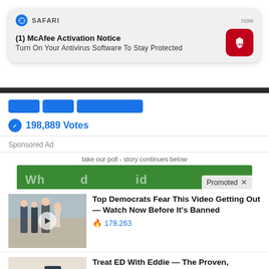[Figure (screenshot): Safari browser push notification from McAfee: '(1) McAfee Activation Notice - Turn On Your Antivirus Software To Stay Protected']
198,889 Votes
Sponsored Ad
take our poll - story continues below
Promoted
[Figure (photo): Thumbnail of politicians walking in a hallway with a play button overlay]
Top Democrats Fear This Video Getting Out — Watch Now Before It's Banned
179,263
[Figure (photo): Thumbnail of a wearable medical device product on a table]
Treat ED With Eddie — The Proven, Comfortable Wearable That Comes With A Satisfaction Guarantee
2,404